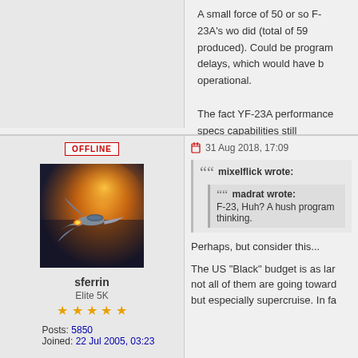A small force of 50 or so F-23A's wo did (total of 59 produced). Could be program delays, which would have b operational.
The fact YF-23A performance specs capabilities still unrealized today. I r
OFFLINE
[Figure (photo): Avatar image of a futuristic military jet aircraft with orange flame/glow in background]
sferrin
Elite 5K
★★★★★
Posts: 5850
Joined: 22 Jul 2005, 03:23
31 Aug 2018, 17:09
mixelflick wrote:
madrat wrote:
F-23, Huh? A hush program thinking.
Perhaps, but consider this...
The US "Black" budget is as lar not all of them are going toward but especially supercruise. In fa